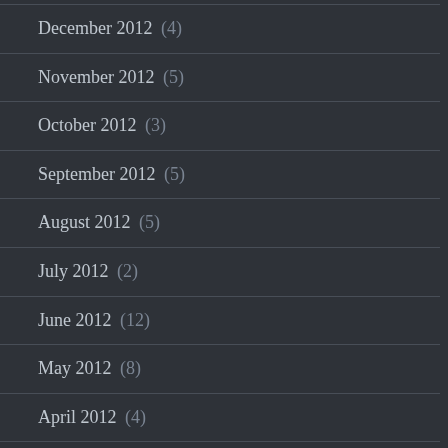December 2012 (4)
November 2012 (5)
October 2012 (3)
September 2012 (5)
August 2012 (5)
July 2012 (2)
June 2012 (12)
May 2012 (8)
April 2012 (4)
March 2012 (8)
February 2012 (8)